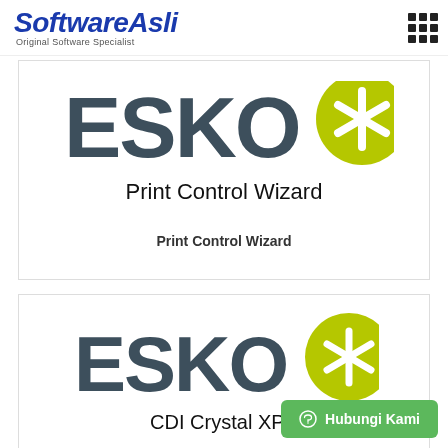SoftwareAsli Original Software Specialist
[Figure (logo): ESKO logo with star symbol - partial/cropped view, first card]
Print Control Wizard
Print Control Wizard
[Figure (logo): ESKO logo with asterisk/star symbol - second card]
CDI Crystal XPS
Hubungi Kami